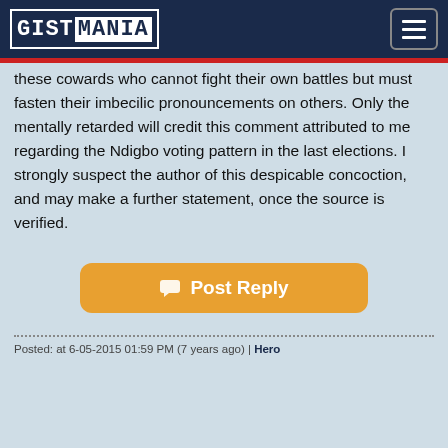GISTMANIA
these cowards who cannot fight their own battles but must fasten their imbecilic pronouncements on others. Only the mentally retarded will credit this comment attributed to me regarding the Ndigbo voting pattern in the last elections. I strongly suspect the author of this despicable concoction, and may make a further statement, once the source is verified.
[Figure (other): Post Reply button with speech bubble icon, orange rounded rectangle]
Posted: at 6-05-2015 01:59 PM (7 years ago) | Hero